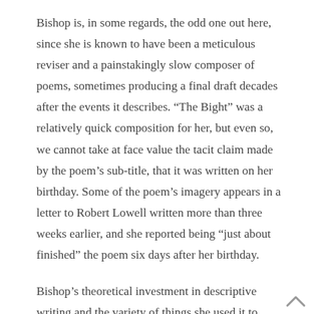Bishop is, in some regards, the odd one out here, since she is known to have been a meticulous reviser and a painstakingly slow composer of poems, sometimes producing a final draft decades after the events it describes. “The Bight” was a relatively quick composition for her, but even so, we cannot take at face value the tacit claim made by the poem’s sub-title, that it was written on her birthday. Some of the poem’s imagery appears in a letter to Robert Lowell written more than three weeks earlier, and she reported being “just about finished” the poem six days after her birthday.
Bishop’s theoretical investment in descriptive writing and the variety of things she used it to convey are more self-conscious and nuanced than anything we find in Clare or Hughes. But Bishop, as her biographer Brett Millier relates,